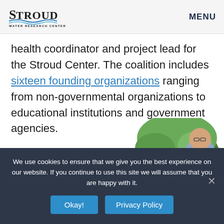Stroud Water Research Center | MENU
health coordinator and project lead for the Stroud Center. The coalition includes sixteen founding organizations ranging from non-governmental organizations to educational institutions and government agencies.
The Stroud
[Figure (photo): Circular cropped photo of a man wearing glasses outdoors near green trees]
We use cookies to ensure that we give you the best experience on our website. If you continue to use this site we will assume that you are happy with it. Okay! Privacy Policy